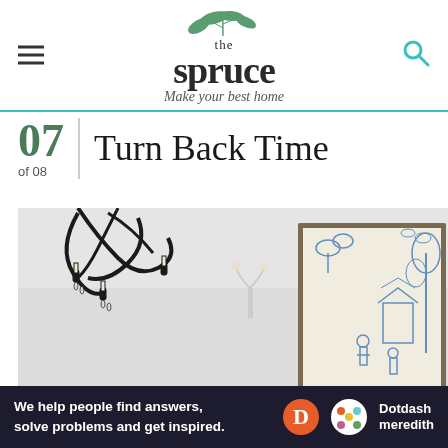[Figure (logo): The Spruce logo with leaf illustration and tagline 'Make your best home']
07 Turn Back Time
of 08
[Figure (photo): Interior room photo showing a black ornate chandelier and a framed blue-and-white chinoiserie artwork on a white wall with a wall sconce]
We help people find answers, solve problems and get inspired.